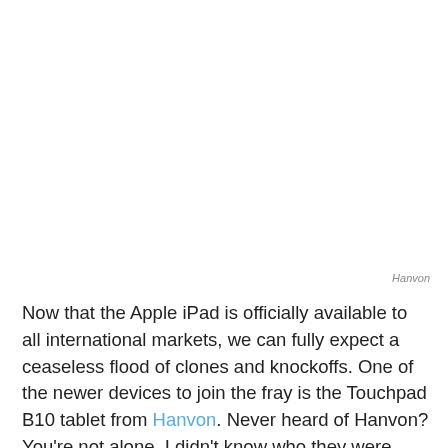Hanvon
Now that the Apple iPad is officially available to all international markets, we can fully expect a ceaseless flood of clones and knockoffs. One of the newer devices to join the fray is the Touchpad B10 tablet from Hanvon. Never heard of Hanvon? You're not alone. I didn't know who they were either when I went to the press conference at Computex. Apparently, the Chinese company was founded in 1998, based in Beijing, and focuses on “various intelligent